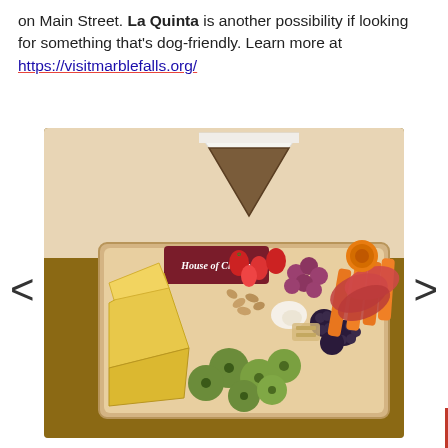on Main Street. La Quinta is another possibility if looking for something that's dog-friendly. Learn more at https://visitmarblefalls.org/
[Figure (photo): A charcuterie/cheese board from 'House of Cheese' featuring cheeses, olives, strawberries, grapes, blackberries, carrots, meats, nuts, and other accompaniments arranged in a wooden tray on a table. A triangular wooden sign and a dark red 'House of Cheese' label card are visible in the background.]